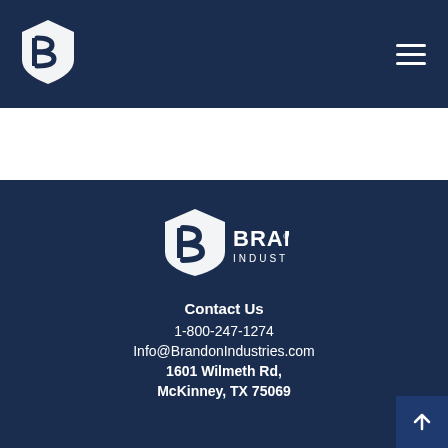[Figure (logo): Brandon Industries logo mark (white B icon) in dark navy header]
[Figure (logo): Brandon Industries full logo (icon + BRANDON INDUSTRIES text) in dark navy footer section]
Contact Us
1-800-247-1274
Info@BrandonIndustries.com
1601 Wilmeth Rd,
McKinney, TX 75069